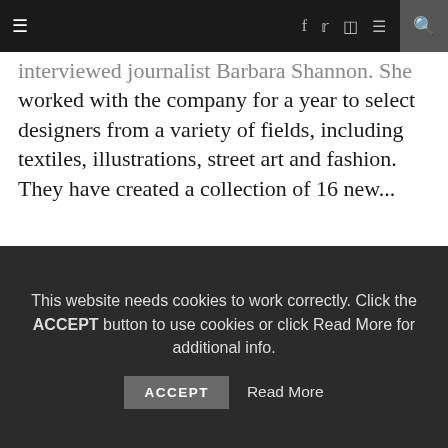≡  f  t  ☷  ⊕  🔍
interviewed journalist Barbara Shannon. She worked with the company for a year to select designers from a variety of fields, including textiles, illustrations, street art and fashion. They have created a collection of 16 new...
Read More...
[Figure (infographic): Social share icons row: Facebook, Twitter, Pinterest, Comment — styled as parallelogram buttons]
This website needs cookies to work correctly. Click the ACCEPT button to use cookies or click Read More for additional info.
ACCEPT  Read More